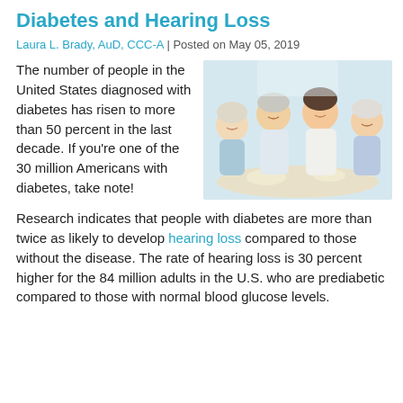Diabetes and Hearing Loss
Laura L. Brady, AuD, CCC-A | Posted on May 05, 2019
The number of people in the United States diagnosed with diabetes has risen to more than 50 percent in the last decade. If you're one of the 30 million Americans with diabetes, take note!
[Figure (photo): Group of four older adults sitting together at a table, smiling and enjoying a meal or conversation.]
Research indicates that people with diabetes are more than twice as likely to develop hearing loss compared to those without the disease. The rate of hearing loss is 30 percent higher for the 84 million adults in the U.S. who are prediabetic compared to those with normal blood glucose levels.